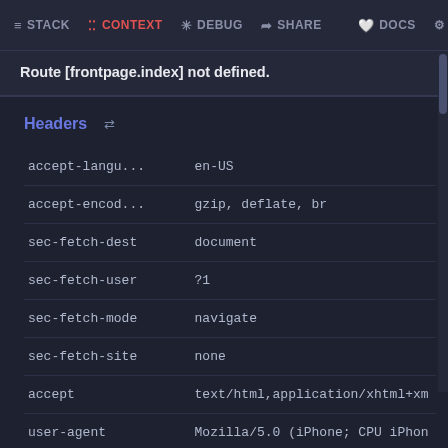STACK  CONTEXT  DEBUG  SHARE  DOCS  [settings]
Route [frontpage.index] not defined.
Headers ⇄
| key | value |
| --- | --- |
| accept-langu... | en-US |
| accept-encod... | gzip, deflate, br |
| sec-fetch-dest | document |
| sec-fetch-user | ?1 |
| sec-fetch-mode | navigate |
| sec-fetch-site | none |
| accept | text/html,application/xhtml+xm |
| user-agent | Mozilla/5.0 (iPhone; CPU iPhon |
| upgrade-inse... | 1 |